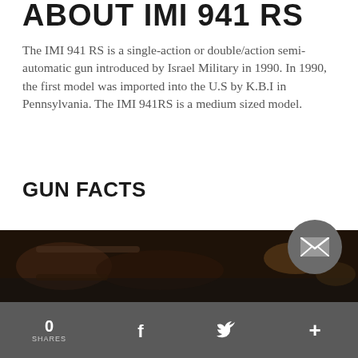ABOUT IMI 941 RS
The IMI 941 RS is a single-action or double/action semi-automatic gun introduced by Israel Military in 1990. In 1990, the first model was imported into the U.S by K.B.I in Pennsylvania.  The IMI 941RS is a medium sized model.
GUN FACTS
Gun type: Pistol
Barrel Length: 3.8
Caliber: 9/40/45
Stack: Double stack
Width: 1.38
Height: 5.51
Length: 7.56
[Figure (photo): Dark photograph showing parts of a firearm/gun]
0 SHARES  f  (twitter bird)  +